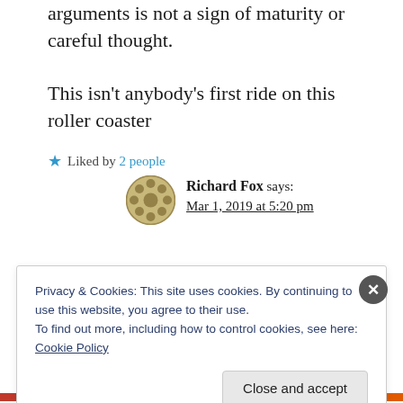misrepresenting people's arguments is not a sign of maturity or careful thought.

This isn't anybody's first ride on this roller coaster
★ Liked by 2 people
Richard Fox says:
Mar 1, 2019 at 5:20 pm
Privacy & Cookies: This site uses cookies. By continuing to use this website, you agree to their use.
To find out more, including how to control cookies, see here: Cookie Policy
Close and accept